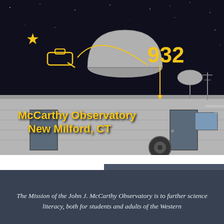[Figure (photo): Nighttime photo of the John J. McCarthy Observatory in New Milford, CT, showing the silver dome on top of a low brick building, with a dark starry sky background. Overlaid golden graphic elements include a star icon, telescope icon, arc line, and the number 932, plus the observatory name text.]
McCarthy Observatory
New Milford, CT
[Figure (infographic): Social media icons bar on dark blue-grey background with Facebook, Twitter, YouTube, Instagram, and email icons in blue circles.]
The Mission of the John J. McCarthy Observatory is to further science literacy, both for students and adults of the Western